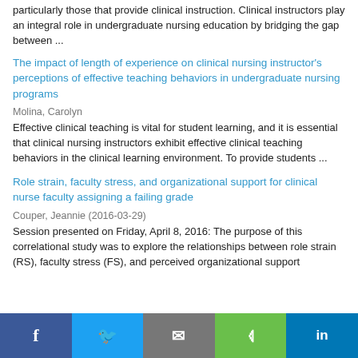particularly those that provide clinical instruction. Clinical instructors play an integral role in undergraduate nursing education by bridging the gap between ...
The impact of length of experience on clinical nursing instructor's perceptions of effective teaching behaviors in undergraduate nursing programs
Molina, Carolyn
Effective clinical teaching is vital for student learning, and it is essential that clinical nursing instructors exhibit effective clinical teaching behaviors in the clinical learning environment. To provide students ...
Role strain, faculty stress, and organizational support for clinical nurse faculty assigning a failing grade
Couper, Jeannie (2016-03-29)
Session presented on Friday, April 8, 2016: The purpose of this correlational study was to explore the relationships between role strain (RS), faculty stress (FS), and perceived organizational support